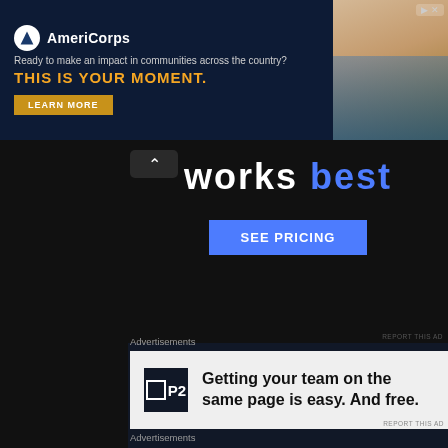[Figure (screenshot): AmeriCorps banner advertisement: logo, tagline 'Ready to make an impact in communities across the country?', CTA 'THIS IS YOUR MOMENT.', LEARN MORE button, photo of people at computer]
[Figure (screenshot): Website section showing 'works best' text in white and blue, with SEE PRICING button on dark background]
Advertisements
[Figure (screenshot): P2 advertisement: 'Getting your team on the same page is easy. And free.']
REPORT THIS AD
Advertisements
[Figure (screenshot): WordPress advertisement: 'Professionally designed sites in less than a week' with WordPress logo]
REPORT THIS AD
Advertisements
[Figure (screenshot): Advertisement showing 'Business in' large text on light background]
Advertisements
[Figure (screenshot): Bloomingdale's advertisement: 'bloomingdales View Today's Top Deals!' with woman in hat, SHOP NOW > button]
REPORT THIS AD